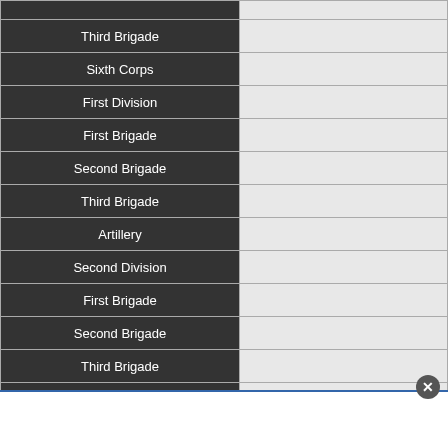| Unit |  |
| --- | --- |
| Third Brigade |  |
| Sixth Corps |  |
| First Division |  |
| First Brigade |  |
| Second Brigade |  |
| Third Brigade |  |
| Artillery |  |
| Second Division |  |
| First Brigade |  |
| Second Brigade |  |
| Third Brigade |  |
| Artillery |  |
| Attached Division |  |
| First Brigade |  |
| Second Brigade |  |